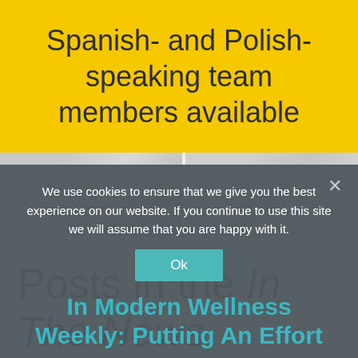Spanish- and Polish-speaking team members available
[Figure (photo): Two faded/watermarked photo placeholders side by side in a horizontal strip]
Posts in the In The News category:
We use cookies to ensure that we give you the best experience on our website. If you continue to use this site we will assume that you are happy with it.
Ok
In Modern Wellness Weekly: Putting An Effort